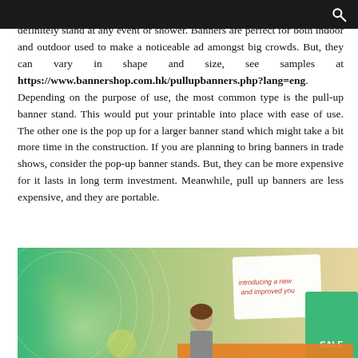definitely stand at any event or shower. Banners are perfect for both indoor and outdoor used to make a noticeable ad amongst big crowds. But, they can vary in shape and size, see samples at https://www.bannershop.com.hk/pullupbanners.php?lang=eng. Depending on the purpose of use, the most common type is the pull-up banner stand. This would put your printable into place with ease of use. The other one is the pop up for a larger banner stand which might take a bit more time in the construction. If you are planning to bring banners in trade shows, consider the pop-up banner stands. But, they can be more expensive for it lasts in long term investment. Meanwhile, pull up banners are less expensive, and they are portable.
[Figure (photo): A promotional banner display image with a green-to-tan gradient background, showing a woman and a pull-up banner stand with text 'introducing a new and improved you' and 'SALE'.]